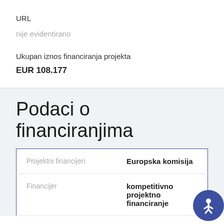URL
nije evidentirano
Ukupan iznos financiranja projekta
EUR 108.177
Podaci o financiranjima
| Projektni financijeri | Europska komisija |
| --- | --- |
| Financijer | kompetitivno projektno financiranje |